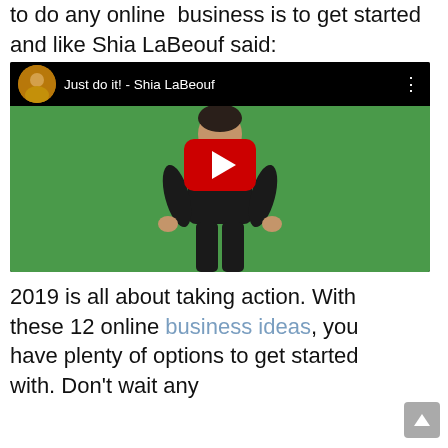to do any online  business is to get started and like Shia LaBeouf said:
[Figure (screenshot): YouTube video embed showing 'Just do it! - Shia LaBeouf' with a thumbnail icon on the left, title text in white, three-dot menu icon, and a red YouTube play button overlay on a green screen background with a man in a black t-shirt posing.]
2019 is all about taking action. With these 12 online business ideas, you have plenty of options to get started with. Don't wait any